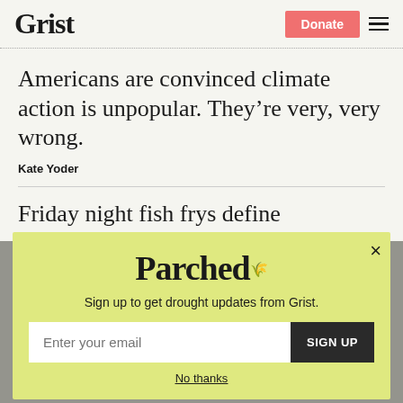Grist
Americans are convinced climate action is unpopular. They're very, very wrong.
Kate Yoder
Friday night fish frys define Wisconsin. What happens when climate change adjusts the menu?
[Figure (infographic): Parched newsletter signup modal overlay on yellow-green background with email input and SIGN UP button]
Sign up to get drought updates from Grist.
No thanks